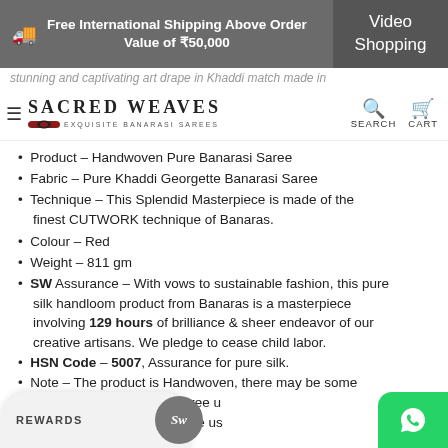Free International Shipping Above Order Value of ₹50,000 | Video Shopping
SACRED WEAVES – EXQUISITE BANARASI SAREES | SEARCH | CART
Product – Handwoven Pure Banarasi Saree
Fabric – Pure Khaddi Georgette Banarasi Saree
Technique – This Splendid Masterpiece is made of the finest CUTWORK technique of Banaras.
Colour – Red
Weight – 811 gm
SW Assurance – With vows to sustainable fashion, this pure silk handloom product from Banaras is a masterpiece involving 129 hours of brilliance & sheer endeavor of our creative artisans. We pledge to cease child labor.
HSN Code – 5007, Assurance for pure silk.
Note – The product is Handwoven, there may be some... 's what makes a woven saree u... ur purchase, kindly message us video call.